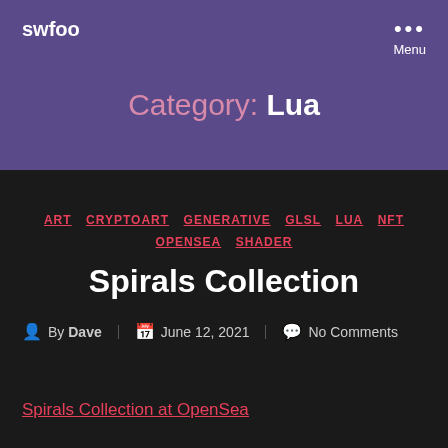swfoo
Category: Lua
ART  CRYPTOART  GENERATIVE  GLSL  LUA  NFT  OPENSEA  SHADER
Spirals Collection
By Dave  June 12, 2021  No Comments
Spirals Collection at OpenSea